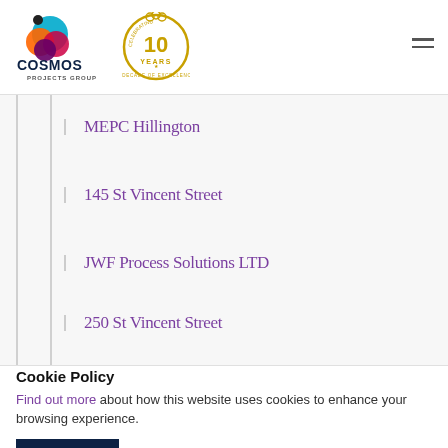[Figure (logo): Cosmos Projects Group logo with colourful overlapping circles and '10 Years - Celebrating a Decade of Excellence' gold badge]
MEPC Hillington
145 St Vincent Street
JWF Process Solutions LTD
250 St Vincent Street
Cookie Policy
Find out more about how this website uses cookies to enhance your browsing experience.
Accept